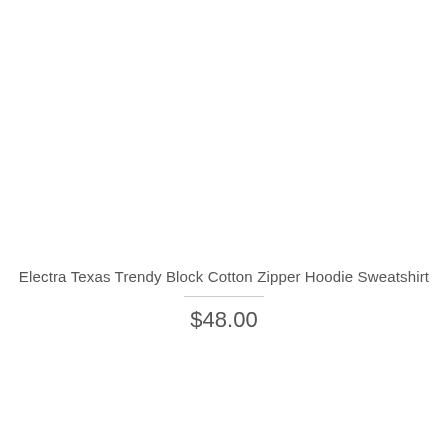Electra Texas Trendy Block Cotton Zipper Hoodie Sweatshirt
$48.00